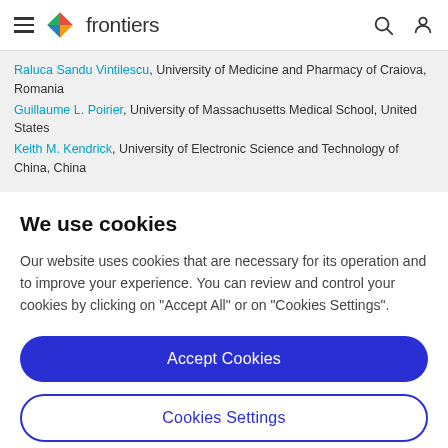frontiers
Raluca Sandu Vintilescu, University of Medicine and Pharmacy of Craiova, Romania
Guillaume L. Poirier, University of Massachusetts Medical School, United States
Keith M. Kendrick, University of Electronic Science and Technology of China, China
We use cookies
Our website uses cookies that are necessary for its operation and to improve your experience. You can review and control your cookies by clicking on "Accept All" or on "Cookies Settings".
Accept Cookies
Cookies Settings